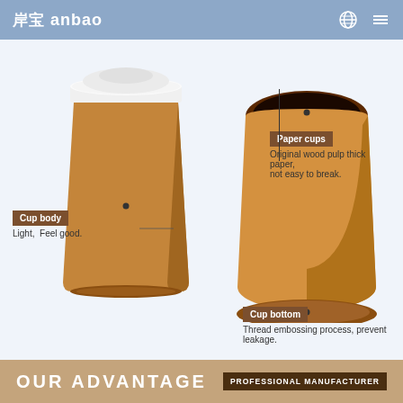岸宝 anbao
[Figure (infographic): Product infographic showing two kraft paper cups with white lid. Labels point to: Paper cups - Original wood pulp thick paper, not easy to break. Cup body - Light, Feel good. Cup bottom - Thread embossing process, prevent leakage.]
Paper cups
Original wood pulp thick paper, not easy to break.
Cup body
Light,  Feel good.
Cup bottom
Thread embossing process, prevent leakage.
OUR ADVANTAGE    PROFESSIONAL MANUFACTURER